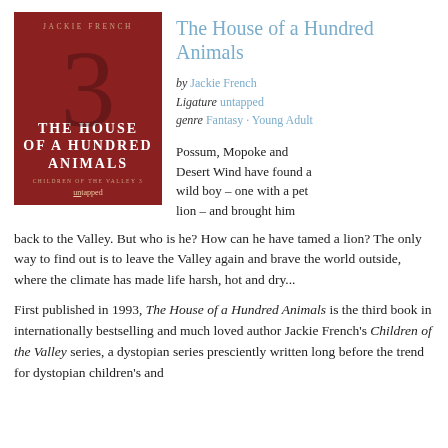[Figure (photo): Book cover for 'The House of a Hundred Animals' by Jackie French, published by Untapped. Dark red background with the number 3 faintly visible. White bold title text reads THE HOUSE OF A HUNDRED ANIMALS. Subtitle: Children of the Valley 3.]
The House of a Hundred Animals
by Jackie French
Ligature untapped
genre Fantasy · Young Adult
Possum, Mopoke and Desert Wind have found a wild boy – one with a pet lion – and brought him back to the Valley. But who is he? How can he have tamed a lion? The only way to find out is to leave the Valley again and brave the world outside, where the climate has made life harsh, hot and dry...
First published in 1993, The House of a Hundred Animals is the third book in internationally bestselling and much loved author Jackie French's Children of the Valley series, a dystopian series presciently written long before the trend for dystopian children's and